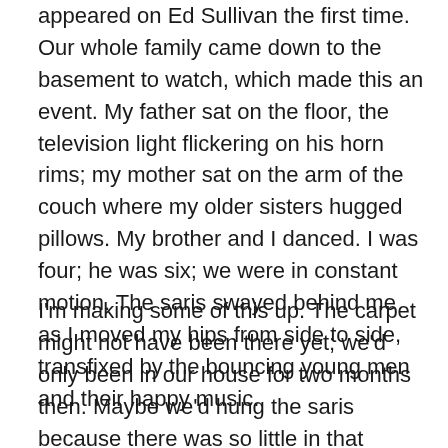appeared on Ed Sullivan the first time.  Our whole family came down to the basement to watch, which made this an event.  My father sat on the floor, the television light flickering on his horn rims; my mother sat on the arm of the couch where my older sisters hugged pillows.  My brother and I danced.  I was four; he was six; we were in constant motion.  The saris swayed behind me as I moved my hips from side to side, transfixed by the bouncing young men and their happy music.
I'm making some of this up.  The carpet might not have been there yet; we'd only been in our house for two months then.  Maybe we'd hung the saris because there was so little in that basement.  Maybe we all sat on the floor because there was no couch yet.  One or two saris must have come down so we could all see the TV.  Or maybe the saris were gone by then, but my memory has